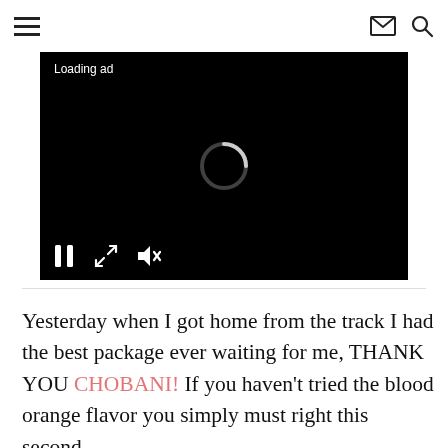≡ (hamburger menu) | (envelope icon) (search icon)
[Figure (screenshot): Black video player with 'Loading ad' text in top left, a spinning loading circle in the center, and media controls (pause, fullscreen, mute) at the bottom left]
Yesterday when I got home from the track I had the best package ever waiting for me, THANK YOU CHOBANI!  If you haven't tried the blood orange flavor you simply must right this second.